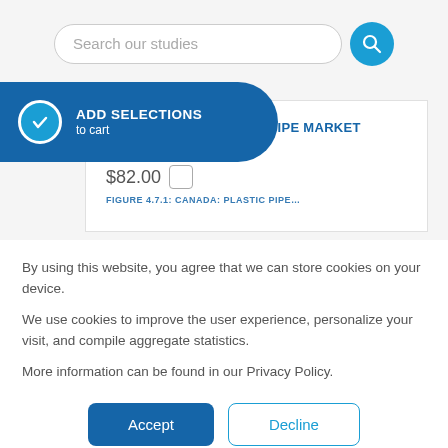Search our studies
ADD SELECTIONS to cart
4.7.1 CANADA: PLASTIC PIPE MARKET SIZE
$82.00
By using this website, you agree that we can store cookies on your device.
We use cookies to improve the user experience, personalize your visit, and compile aggregate statistics.
More information can be found in our Privacy Policy.
Accept
Decline